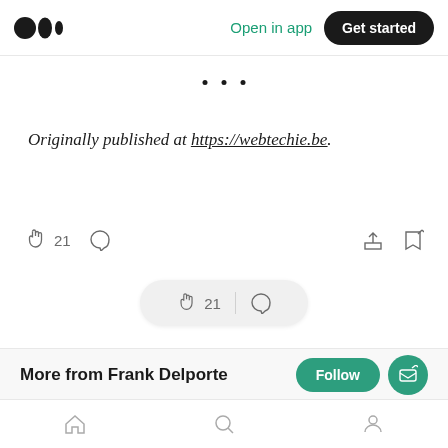Medium logo | Open in app | Get started
· · ·
Originally published at https://webtechie.be.
👏 21  💬  share  bookmark
👏 21 | 💬
More from Frank Delporte
Home | Search | Profile